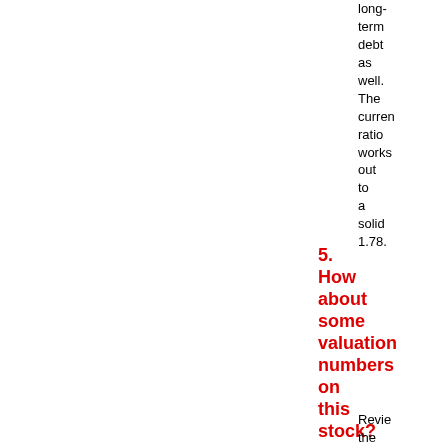long-term debt as well. The current ratio works out to a solid 1.78.
5. How about some valuation numbers on this stock?
Review the Yahoo "Key